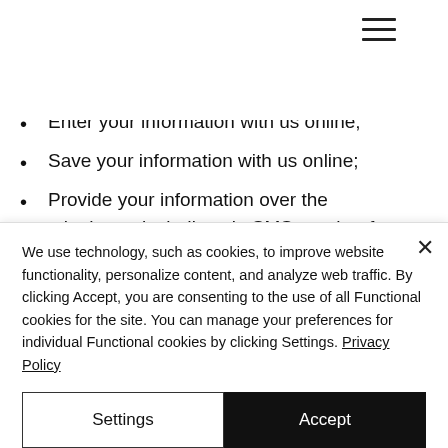☰ (hamburger menu icon)
Enter your information with us online;
Save your information with us online;
Provide your information over the telephone, including via SMS or other forms of text messaging to
We use technology, such as cookies, to improve website functionality, personalize content, and analyze web traffic. By clicking Accept, you are consenting to the use of all Functional cookies for the site. You can manage your preferences for individual Functional cookies by clicking Settings. Privacy Policy
Settings
Accept